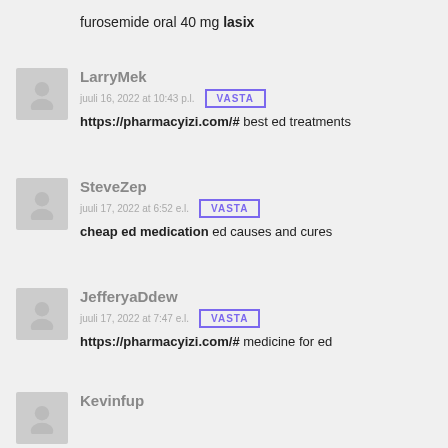furosemide oral 40 mg lasix
LarryMek
juuli 16, 2022 at 10:43 p.l.
https://pharmacyizi.com/# best ed treatments
SteveZep
juuli 17, 2022 at 6:52 e.l.
cheap ed medication ed causes and cures
JefferyaDdew
juuli 17, 2022 at 7:47 e.l.
https://pharmacyizi.com/# medicine for ed
Kevinfup